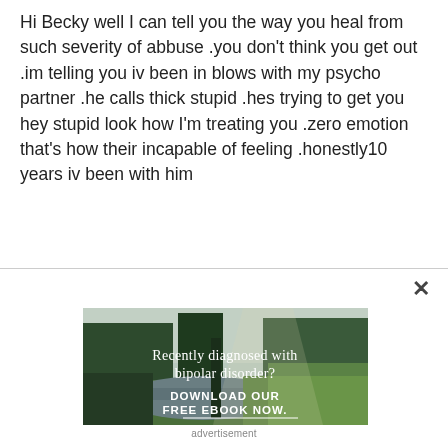Hi Becky well I can tell you the way you heal from such severity of abbuse .you don't think you get out .im telling you iv been in blows with my psycho partner .he calls thick stupid .hes trying to get you hey stupid look how I'm treating you .zero emotion that's how their incapable of feeling .honestly10 years iv been with him
[Figure (photo): Advertisement showing a forest/nature scene with a river, evergreen trees, and text overlay reading 'Recently diagnosed with bipolar disorder? DOWNLOAD OUR FREE EBOOK NOW.' with a horizontal underline beneath the ebook text.]
advertisement